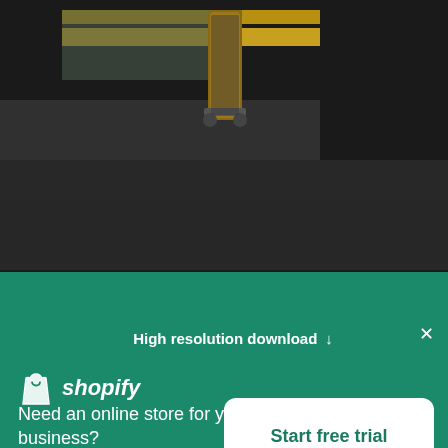[Figure (photo): Photo of a skateboard standing vertically on its tail on a dark grey concrete floor, with yellow and grey architectural elements visible in the background.]
Skateboarder Pauses
High resolution download ↓
[Figure (logo): Shopify logo with bag icon and italic wordmark 'shopify']
Need an online store for your business?
Start free trial